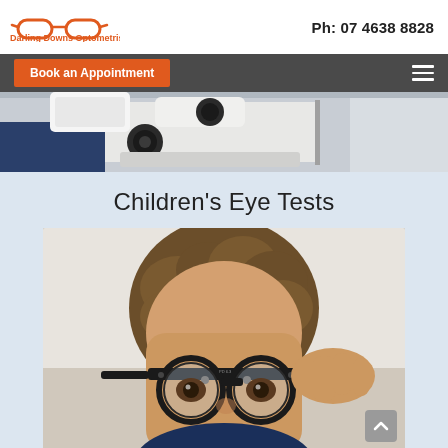[Figure (logo): Darling Downs Optometrist logo with glasses icon and orange text]
Ph: 07 4638 8828
Book an Appointment
[Figure (photo): Close-up of optometry slit lamp equipment, top portion visible]
Children's Eye Tests
[Figure (photo): Young boy with curly hair holding up a trial lens frame (phoropter) in front of his eyes during an eye exam]